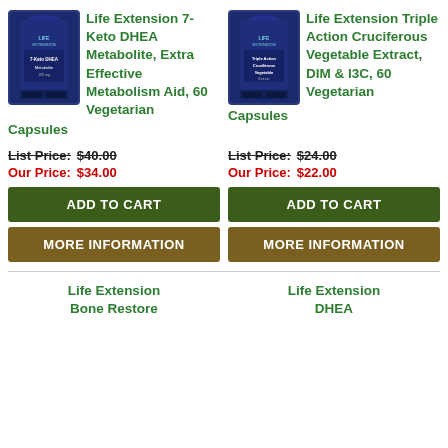[Figure (photo): Life Extension 7-Keto DHEA Metabolite supplement bottle, dark blue]
Life Extension 7-Keto DHEA Metabolite, Extra Effective Metabolism Aid, 60 Vegetarian Capsules
[Figure (photo): Life Extension Triple Action Cruciferous Vegetable Extract supplement bottle, dark blue]
Life Extension Triple Action Cruciferous Vegetable Extract, DIM & I3C, 60 Vegetarian Capsules
List Price: $40.00
Our Price: $34.00
List Price: $24.00
Our Price: $22.00
ADD TO CART
ADD TO CART
MORE INFORMATION
MORE INFORMATION
Life Extension
Bone Restore
Life Extension
DHEA